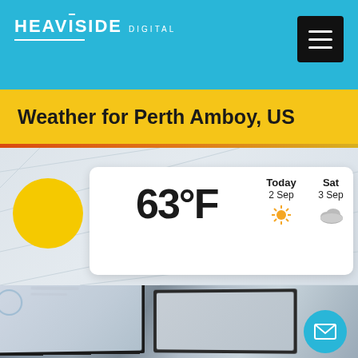HEAVISIDE DIGITAL
Weather for Perth Amboy, US
[Figure (screenshot): Weather widget showing 63°F for Perth Amboy, US with a yellow sun icon. Forecast columns show: Today 2 Sep (sunny icon), Sat 3 Sep (cloudy icon), Sun 4 Sep (rain/snow icon). White card on a light grid background.]
[Figure (photo): Photo of laptop computers on a desk, blurred/bokeh background, office setting.]